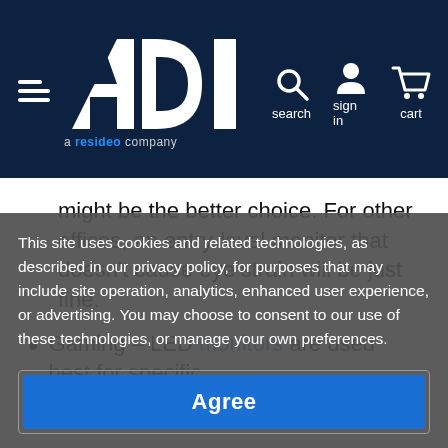[Figure (logo): ADI (a Resideo company) website header with hamburger menu, ADI logo, search icon, sign in icon, and cart icon on dark navy background]
might be the better choice. For other offices, an entry-level monitor that doesn't cause eye strain will be just fine.
Gaming – LED monitors are used best for specific...
This site uses cookies and related technologies, as described in our privacy policy, for purposes that may include site operation, analytics, enhanced user experience, or advertising. You may choose to consent to our use of these technologies, or manage your own preferences.
Agree